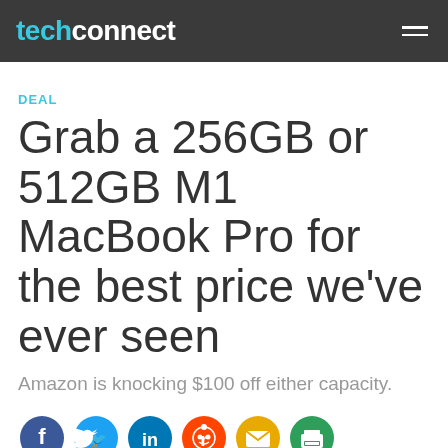techconnect
DEAL
Grab a 256GB or 512GB M1 MacBook Pro for the best price we've ever seen
Amazon is knocking $100 off either capacity.
[Figure (other): Social share icons: Facebook, Twitter, LinkedIn, Reddit, Email, Print]
By Michael Simon